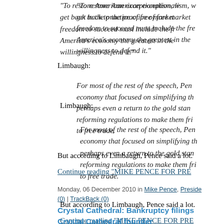"To restore American exceptionalism, we must get back to the practice of free market... freedom to succeed must include the fre... America's economy the greatest in the... willingness to defend it."
Limbaugh:
For most of the rest of the speech, Pen... economy that focused on simplifying th... perhaps even a return to the gold stan... reforming regulations to make them fri... to free trade.
But according to Limbaugh, Pence said a lot...
Continue reading "MIKE PENCE FOR PRE...
Monday, 06 December 2010 in Mike Pence, Preside... (0) | TrackBack (0)
Crystal Cathedral: Bankruptcy filings... Crystal Cathedral founder
So says the L.A. Times. Depressing. (I firs... Schuller's Crystal Cathedral back in August,...
... in ...